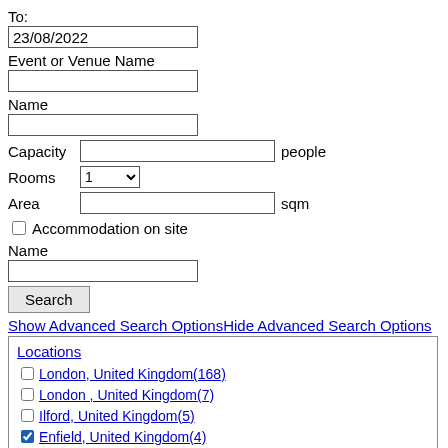To:
23/08/2022
Event or Venue Name
Name
Capacity   people
Rooms   1
Area   sqm
Accommodation on site
Name
Search
Show Advanced Search OptionsHide Advanced Search Options
Locations
London, United Kingdom(168)
London , United Kingdom(7)
Ilford, United Kingdom(5)
Enfield, United Kingdom(4)
Croydon, United Kingdom(3)
tower hamlets , United Kingdom(2)
Hounslow, United Kingdom(2)